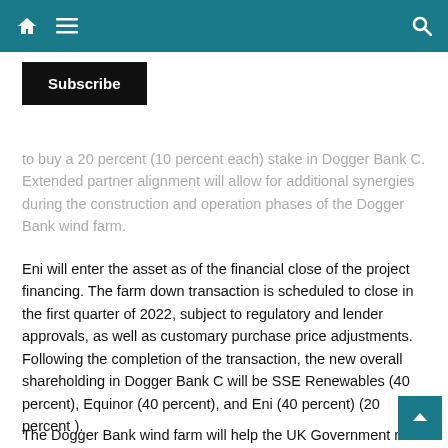Navigation bar with home, menu, and search icons
Subscribe
to buy a 20 percent (10 percent each) stake in Dogger Bank C. Extended partner alignment will allow for additional synergies during the construction and operation phases of the Dogger Bank wind farm.
Eni will enter the asset as of the financial close of the project financing. The farm down transaction is scheduled to close in the first quarter of 2022, subject to regulatory and lender approvals, as well as customary purchase price adjustments. Following the completion of the transaction, the new overall shareholding in Dogger Bank C will be SSE Renewables (40 percent), Equinor (40 percent), and Eni (40 percent) (20 percent ).
The Dogger Bank wind farm will help the UK Government meet its